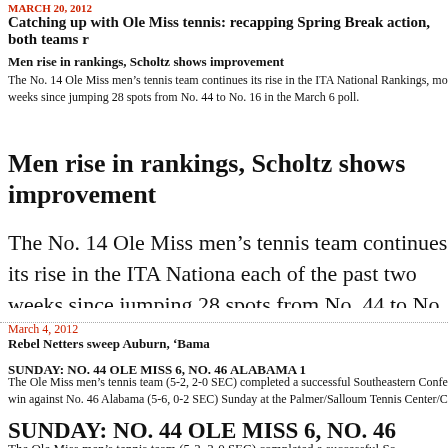Catching up with Ole Miss tennis: recapping Spring Break action, both teams r
Men rise in rankings, Scholtz shows improvement
The No. 14 Ole Miss men’s tennis team continues its rise in the ITA National Rankings, mo weeks since jumping 28 spots from No. 44 to No. 16 in the March 6 poll.
Men rise in rankings, Scholtz shows improvement
The No. 14 Ole Miss men’s tennis team continues its rise in the ITA Nationa each of the past two weeks since jumping 28 spots from No. 44 to No. 16 in
March 4, 2012
Rebel Netters sweep Auburn, ‘Bama
SUNDAY: NO. 44 OLE MISS 6, NO. 46 ALABAMA 1
The Ole Miss men’s tennis team (5-2, 2-0 SEC) completed a successful Southeastern Confe win against No. 46 Alabama (5-6, 0-2 SEC) Sunday at the Palmer/Salloum Tennis Center/C
SUNDAY: NO. 44 OLE MISS 6, NO. 46 ALABAMA 1
The Ole Miss men’s tennis team (5-2, 2-0 SEC) completed a successful So